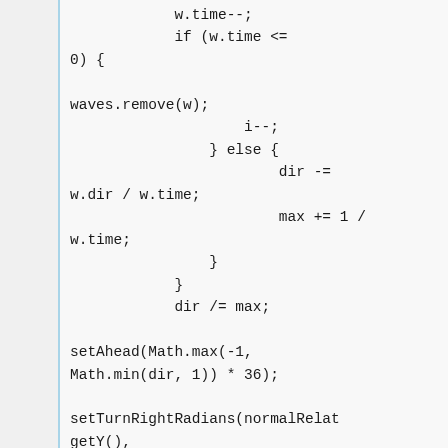w.time--;
            if (w.time <= 0) {

waves.remove(w);
                    i--;
                } else {
                        dir -= w.dir / w.time;
                        max += 1 / w.time;
                }
            }
            dir /= max;

setAhead(Math.max(-1, Math.min(dir, 1)) * 36);

setTurnRightRadians(normalRelat getY(),
getHeadingRadians() +
e.getBearingRadians() +
Math.PI / 2,
(int)Math.signum(dir)) -
getHeadingRadians()));